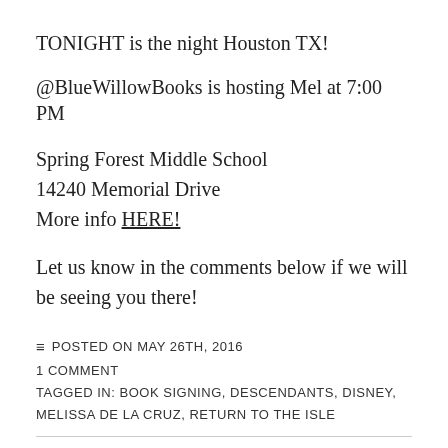TONIGHT is the night Houston TX!
@BlueWillowBooks is hosting Mel at 7:00 PM
Spring Forest Middle School
14240 Memorial Drive
More info HERE!
Let us know in the comments below if we will be seeing you there!
≡ POSTED ON MAY 26TH, 2016
1 COMMENT
TAGGED IN: BOOK SIGNING, DESCENDANTS, DISNEY, MELISSA DE LA CRUZ, RETURN TO THE ISLE